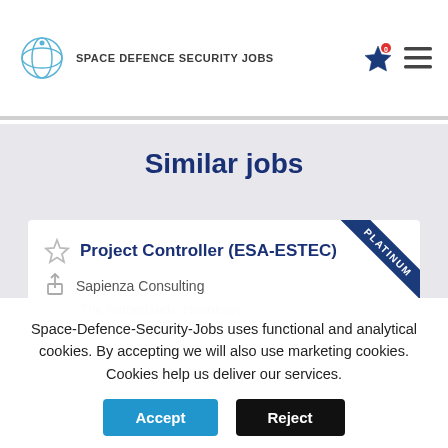SPACE DEFENCE SECURITY JOBS
Similar jobs
Project Controller (ESA-ESTEC)
Sapienza Consulting
The Netherlands, Noordwijk
Space-Defence-Security-Jobs uses functional and analytical cookies. By accepting we will also use marketing cookies. Cookies help us deliver our services.
Accept
Reject
Read More